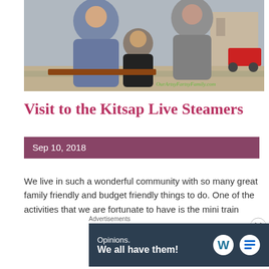[Figure (photo): A family photo showing adults and a young child smiling, sitting near what appears to be a small train track outdoors. Watermark reads OurArtsyFartsyFamily.com]
Visit to the Kitsap Live Steamers
Sep 10, 2018
We live in such a wonderful community with so many great family friendly and budget friendly things to do. One of the activities that we are fortunate to have is the mini train
Advertisements
[Figure (screenshot): WordPress advertisement banner: Opinions. We all have them! with WordPress W logo and another circular logo]